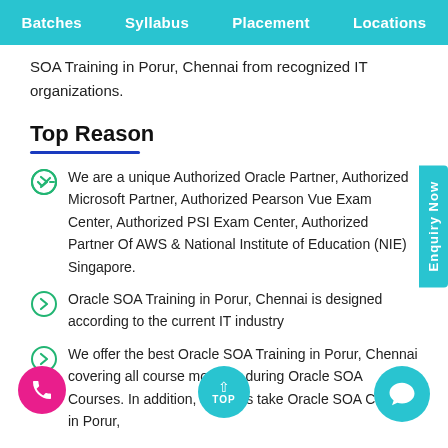Batches  Syllabus  Placement  Locations
SOA Training in Porur, Chennai from recognized IT organizations.
Top Reason
We are a unique Authorized Oracle Partner, Authorized Microsoft Partner, Authorized Pearson Vue Exam Center, Authorized PSI Exam Center, Authorized Partner Of AWS & National Institute of Education (NIE) Singapore.
Oracle SOA Training in Porur, Chennai is designed according to the current IT industry
We offer the best Oracle SOA Training in Porur, Chennai covering all course modules during Oracle SOA Courses. In addition, students take Oracle SOA Courses in Porur,